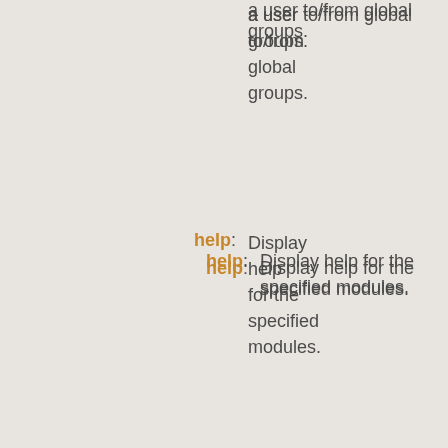a user to/from global groups.
help: Display help for the specified modules.
imagerotate: Rotate one or more images.
import: Import a page from another